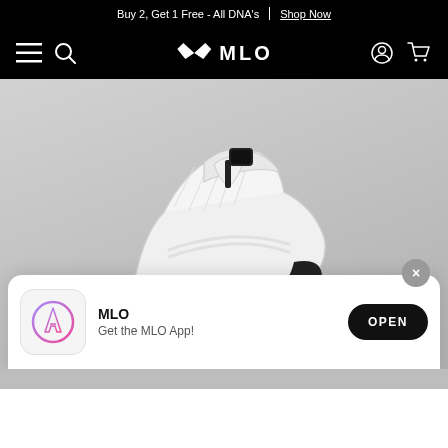Buy 2, Get 1 Free - All DNA's | Shop Now
[Figure (screenshot): MLO brand navigation bar with hamburger menu, search icon, MLO logo, user account icon, and cart icon on black background]
[Figure (photo): White designer sneaker/shoe photographed against a grey background, shown from an artistic angle displaying the sole and upper details]
MLO
Get the MLO App!
OPEN